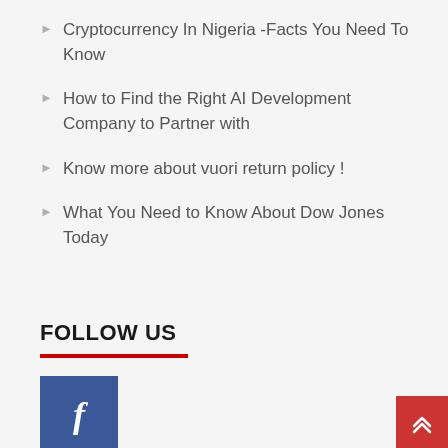Cryptocurrency In Nigeria -Facts You Need To Know
How to Find the Right AI Development Company to Partner with
Know more about vuori return policy !
What You Need to Know About Dow Jones Today
FOLLOW US
[Figure (logo): Facebook logo icon — white 'f' on blue square background]